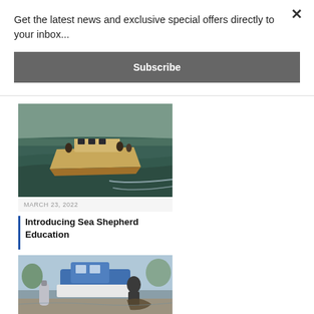Get the latest news and exclusive special offers directly to your inbox...
Subscribe
[Figure (photo): A fishing/research vessel with people on board moving through open water, photographed from the side]
MARCH 23, 2022
Introducing Sea Shepherd Education
[Figure (photo): A man on a dock near a blue and white boat, handling a large net or catch]